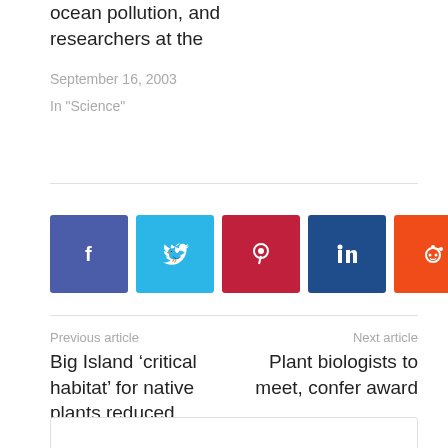ocean pollution, and researchers at the
September 16, 2003
In "Science"
[Figure (other): Social media share buttons: Facebook (blue), Twitter (light blue), Pinterest (dark red), LinkedIn (dark blue), Reddit (orange)]
Previous article
Big Island ‘critical habitat’ for native plants reduced
Next article
Plant biologists to meet, confer award
[Figure (photo): Author photo, partially visible at bottom of page]